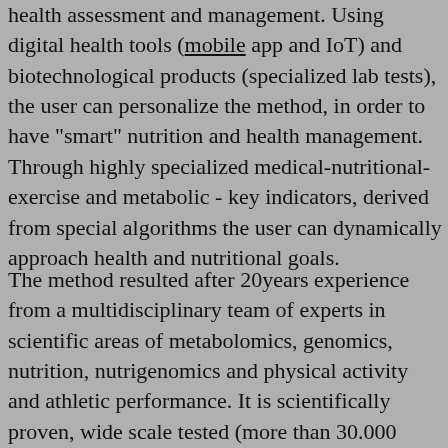health assessment and management. Using digital health tools (mobile app and IoT) and biotechnological products (specialized lab tests), the user can personalize the method, in order to have "smart" nutrition and health management. Through highly specialized medical-nutritional-exercise and metabolic - key indicators, derived from special algorithms the user can dynamically approach health and nutritional goals.
The method resulted after 20years experience from a multidisciplinary team of experts in scientific areas of metabolomics, genomics, nutrition, nutrigenomics and physical activity and athletic performance. It is scientifically proven, wide scale tested (more than 30.000 users) and patented